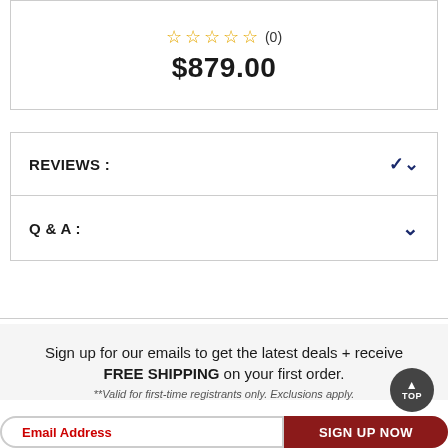☆☆☆☆☆ (0)
$879.00
REVIEWS :
Q & A :
Sign up for our emails to get the latest deals + receive FREE SHIPPING on your first order.
**Valid for first-time registrants only. Exclusions apply.
Email Address
SIGN UP NOW